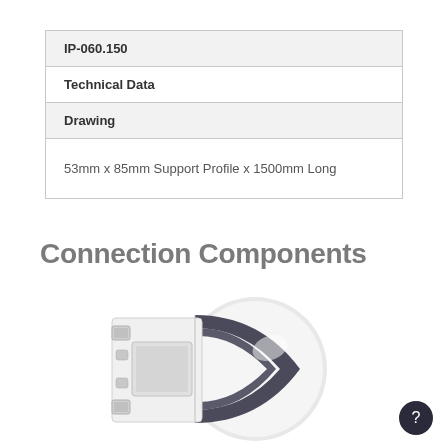| IP-060.150 |
| Technical Data |
| Drawing |
| 53mm x 85mm Support Profile x 1500mm Long |
Connection Components
[Figure (photo): Photo of a white plastic connection component/profile end cap with grey rubber insert, showing the cross-section profile shape with mounting slots]